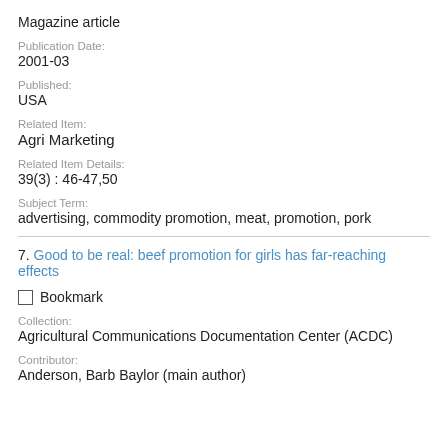Magazine article
Publication Date:
2001-03
Published:
USA
Related Item:
Agri Marketing
Related Item Details:
39(3) : 46-47,50
Subject Term:
advertising, commodity promotion, meat, promotion, pork
7. Good to be real: beef promotion for girls has far-reaching effects
Bookmark
Collection:
Agricultural Communications Documentation Center (ACDC)
Contributor:
Anderson, Barb Baylor (main author)